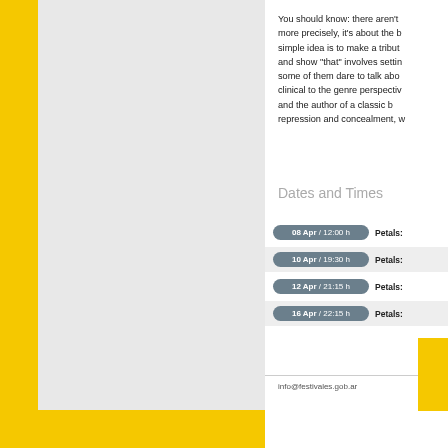You should know: there aren't more precisely, it's about the b simple idea is to make a tribut and show "that" involves settin some of them dare to talk abo clinical to the genre perspectiv and the author of a classic b repression and concealment, w
Dates and Times
08 Apr / 12:00 h   Petals:
10 Apr / 19:30 h   Petals:
12 Apr / 21:15 h   Petals:
16 Apr / 22:15 h   Petals:
info@festivales.gob.ar